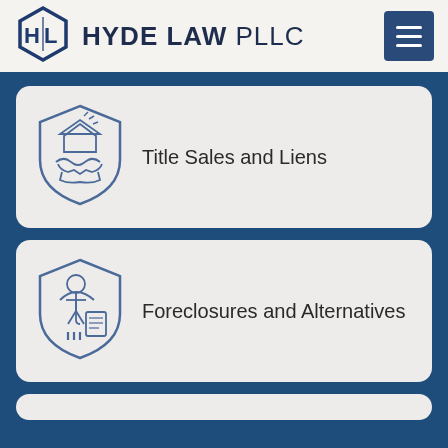[Figure (logo): Hyde Law PLLC logo with hexagonal HL icon]
HYDE LAW PLLC
[Figure (illustration): Shield icon with house and handshake inside, representing Title Sales and Liens]
Title Sales and Liens
[Figure (illustration): Shield icon with person holding umbrella and document inside, representing Foreclosures and Alternatives]
Foreclosures and Alternatives